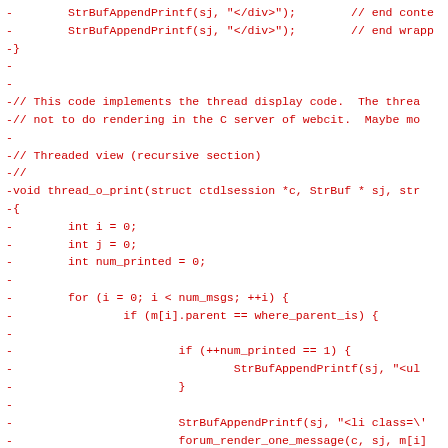[Figure (screenshot): Code diff showing deleted lines (prefixed with '-') in red monospace font on white background. The code shows C functions including StrBufAppendPrintf calls, a comment about thread display code, and the thread_o_print function implementation with loops and conditionals.]